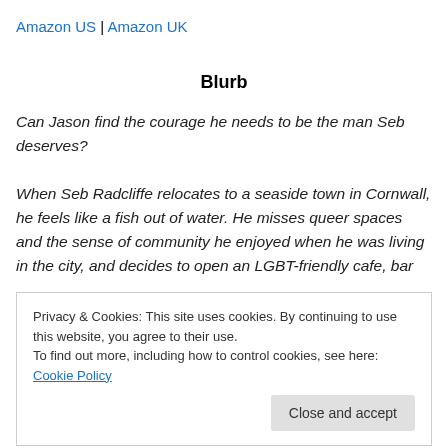Amazon US | Amazon UK
Blurb
Can Jason find the courage he needs to be the man Seb deserves?
When Seb Radcliffe relocates to a seaside town in Cornwall, he feels like a fish out of water. He misses queer spaces and the sense of community he enjoyed when he was living in the city, and decides to open an LGBT-friendly cafe, bar
Privacy & Cookies: This site uses cookies. By continuing to use this website, you agree to their use.
To find out more, including how to control cookies, see here: Cookie Policy
himself the co